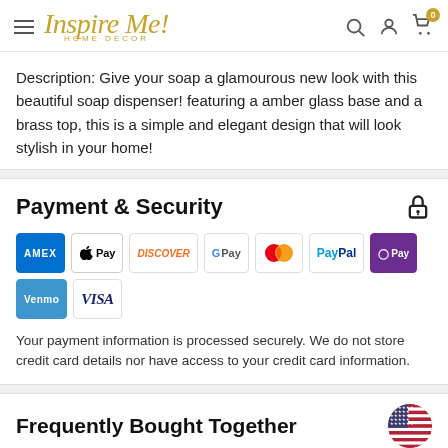Inspire Me! Home Decor - navigation header with search, account, and cart icons
Description: Give your soap a glamourous new look with this beautiful soap dispenser! featuring a amber glass base and a brass top, this is a simple and elegant design that will look stylish in your home!
Payment & Security
[Figure (logo): Payment method icons: AMEX, Apple Pay, Discover, Google Pay, Mastercard, PayPal, OPay, Venmo, VISA]
Your payment information is processed securely. We do not store credit card details nor have access to your credit card information.
Frequently Bought Together